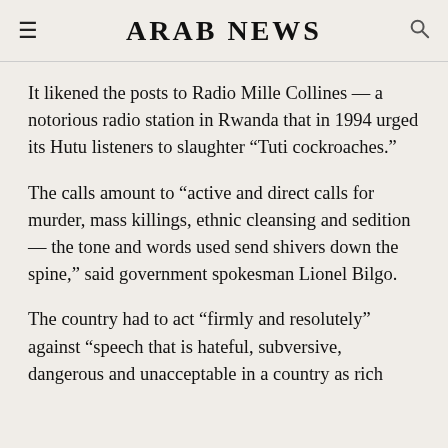ARAB NEWS
It likened the posts to Radio Mille Collines — a notorious radio station in Rwanda that in 1994 urged its Hutu listeners to slaughter “Tuti cockroaches.”
The calls amount to “active and direct calls for murder, mass killings, ethnic cleansing and sedition — the tone and words used send shivers down the spine,” said government spokesman Lionel Bilgo.
The country had to act “firmly and resolutely” against “speech that is hateful, subversive, dangerous and unacceptable in a country as rich